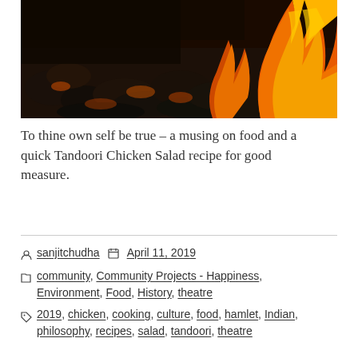[Figure (photo): Dark charcoal or burnt coals with dramatic orange and yellow fire flames on the right side, suggesting a tandoor oven or grill fire. Dark moody food/cooking photography.]
To thine own self be true – a musing on food and a quick Tandoori Chicken Salad recipe for good measure.
sanjitchudha   April 11, 2019
community, Community Projects - Happiness, Environment, Food, History, theatre
2019, chicken, cooking, culture, food, hamlet, Indian, philosophy, recipes, salad, tandoori, theatre